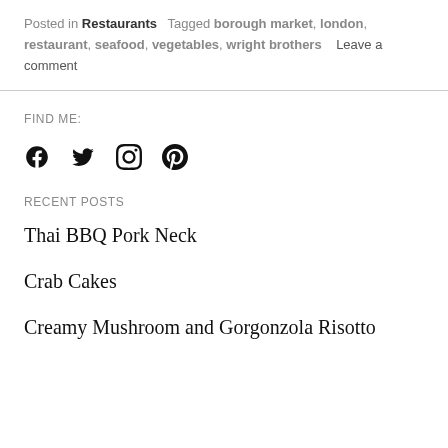Posted in Restaurants   Tagged borough market, london, restaurant, seafood, vegetables, wright brothers   Leave a comment
FIND ME:
[Figure (other): Social media icons: Facebook, Twitter, Instagram, Pinterest]
RECENT POSTS
Thai BBQ Pork Neck
Crab Cakes
Creamy Mushroom and Gorgonzola Risotto